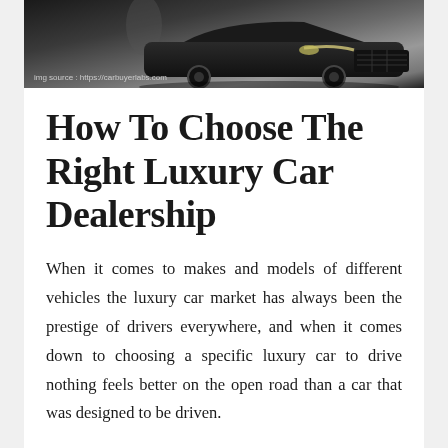[Figure (photo): Close-up photo of the front grille and headlights of a dark luxury car, with a blurred background showing a person walking. Image source watermark reads: img source : https://carbuyerlabs.com]
img source : https://carbuyerlabs.com
How To Choose The Right Luxury Car Dealership
When it comes to makes and models of different vehicles the luxury car market has always been the prestige of drivers everywhere, and when it comes down to choosing a specific luxury car to drive nothing feels better on the open road than a car that was designed to be driven.